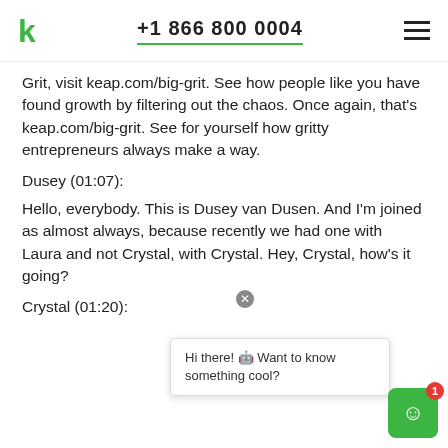+1 866 800 0004
Grit, visit keap.com/big-grit. See how people like you have found growth by filtering out the chaos. Once again, that's keap.com/big-grit. See for yourself how gritty entrepreneurs always make a way.
Dusey (01:07):
Hello, everybody. This is Dusey van Dusen. And I'm joined as almost always, because recently we had one with Laura and not Crystal, with Crystal. Hey, Crystal, how's it going?
Crystal (01:20):